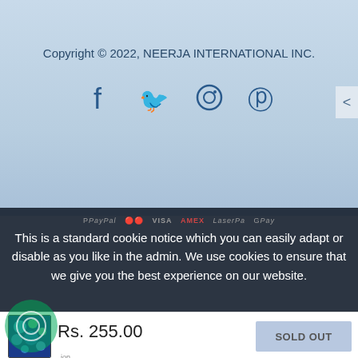Copyright © 2022, NEERJA INTERNATIONAL INC.
[Figure (illustration): Social media icons: Facebook, Twitter, Instagram, Pinterest on light blue gradient background]
This is a standard cookie notice which you can easily adapt or disable as you like in the admin. We use cookies to ensure that we give you the best experience on our website.
PRIVACY POLICY   ACCEPT ✓
↑ TOP
Rs. 255.00
SOLD OUT